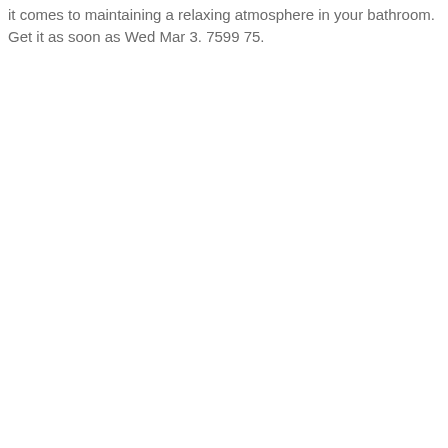it comes to maintaining a relaxing atmosphere in your bathroom. Get it as soon as Wed Mar 3. 7599 75.